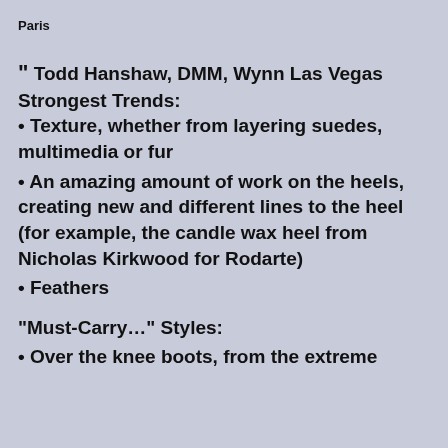Paris
" Todd Hanshaw, DMM, Wynn Las Vegas Strongest Trends: • Texture, whether from layering suedes, multimedia or fur • An amazing amount of work on the heels, creating new and different lines to the heel (for example, the candle wax heel from Nicholas Kirkwood for Rodarte) • Feathers "Must-Carry…" Styles: • Over the knee boots, from the extreme